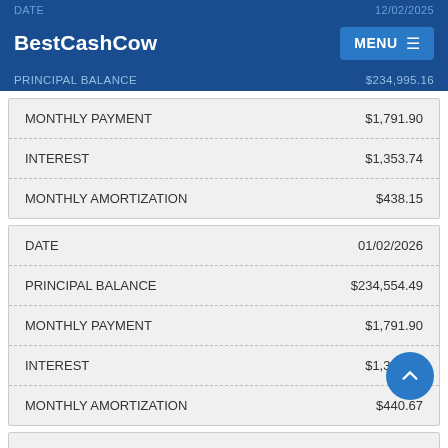BestCashCow | MENU
| FIELD | VALUE |
| --- | --- |
| DATE | 12/02/2025 |
| PRINCIPAL BALANCE | $234,995.16 |
| MONTHLY PAYMENT | $1,791.90 |
| INTEREST | $1,353.74 |
| MONTHLY AMORTIZATION | $438.15 |
| FIELD | VALUE |
| --- | --- |
| DATE | 01/02/2026 |
| PRINCIPAL BALANCE | $234,554.49 |
| MONTHLY PAYMENT | $1,791.90 |
| INTEREST | $1,351.22 |
| MONTHLY AMORTIZATION | $440.67 |
| FIELD | VALUE |
| --- | --- |
| DATE | 02/02/2026 |